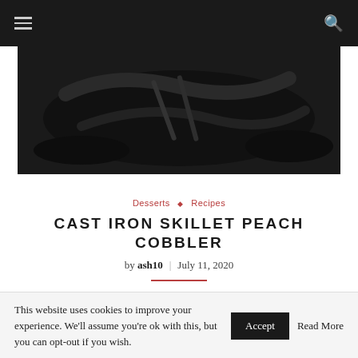Navigation bar with hamburger menu and search icon
[Figure (photo): Dark background photo of a cast iron skillet, close-up, low light kitchen setting]
Desserts ◇ Recipes
CAST IRON SKILLET PEACH COBBLER
by ash10  |  July 11, 2020
This is a quick easy recipe if you need a delicious dessert to feed dinner guests or a group of friends.
This website uses cookies to improve your experience. We'll assume you're ok with this, but you can opt-out if you wish.  Accept  Read More